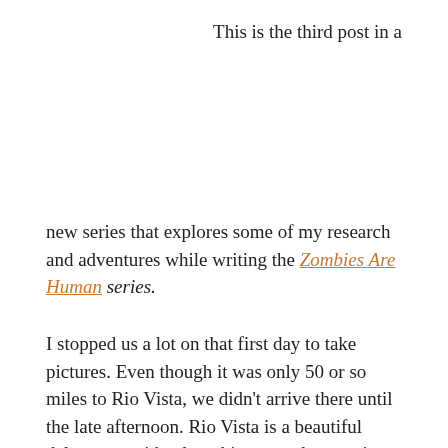This is the third post in a
new series that explores some of my research and adventures while writing the Zombies Are Human series.
I stopped us a lot on that first day to take pictures. Even though it was only 50 or so miles to Rio Vista, we didn't arrive there until the late afternoon. Rio Vista is a beautiful delta town with a long history and a growing arts community.